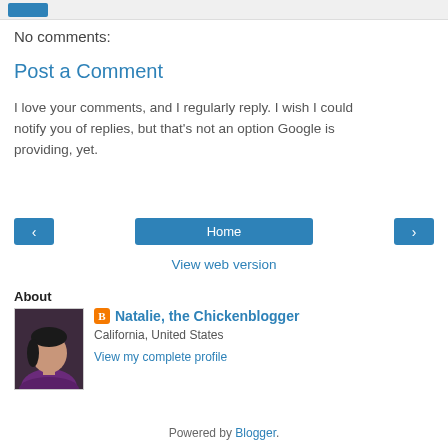No comments:
Post a Comment
I love your comments, and I regularly reply. I wish I could notify you of replies, but that's not an option Google is providing, yet.
[Figure (other): Navigation buttons: left arrow, Home, right arrow, and View web version link]
About
[Figure (photo): Profile photo of Natalie, a woman with dark hair, sitting in a car, wearing a purple top]
Natalie, the Chickenblogger
California, United States
View my complete profile
Powered by Blogger.